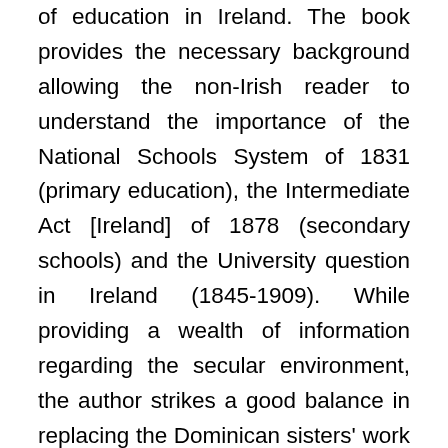of education in Ireland. The book provides the necessary background allowing the non-Irish reader to understand the importance of the National Schools System of 1831 (primary education), the Intermediate Act [Ireland] of 1878 (secondary schools) and the University question in Ireland (1845-1909). While providing a wealth of information regarding the secular environment, the author strikes a good balance in replacing the Dominican sisters' work in the ecclesial context of the Irish Church of the nineteenth and twentieth centuries. This reviewer was particularly interested by the story on how the Poor Clares, Carmelites and Dominicans asked Rome to pass from the jurisdiction of the